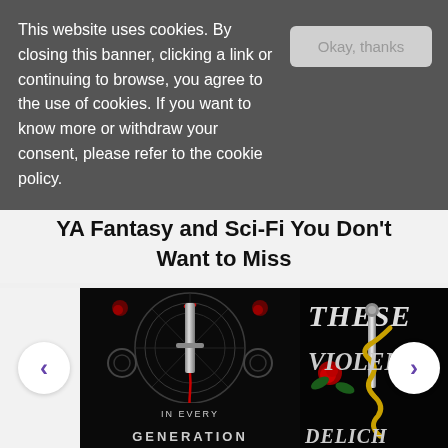This website uses cookies. By closing this banner, clicking a link or continuing to browse, you agree to the use of cookies. If you want to know more or withdraw your consent, please refer to the cookie policy.
Okay, thanks
YA Fantasy and Sci-Fi You Don't Want to Miss
[Figure (photo): Book cover: 'In Every Generation' — dark gothic art deco design with a silver dagger dripping blood on a black background with red decorative elements]
[Figure (photo): Book cover: 'These Violent Delights' — dark cover with a dagger wrapped by a golden snake, red roses on black background]